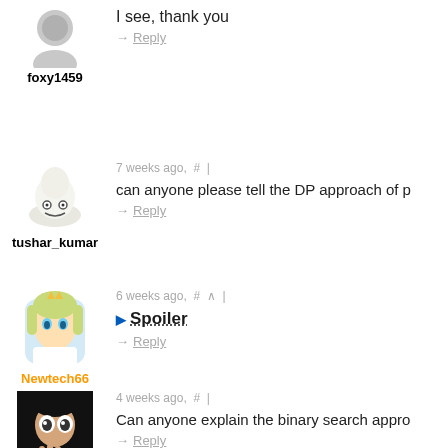foxy1459 — I see, thank you — Reply
tushar_kumar — 7 weeks ago — can anyone please tell the DP approach of p — Reply
Newtech66 — 6 weeks ago — Spoiler — Reply
Dipankar23 — 4 weeks ago — Can anyone explain the binary search appro — Reply